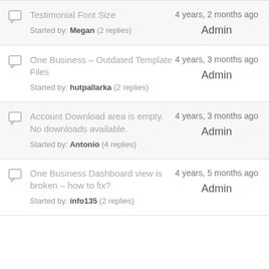Testimonial Font Size — Started by: Megan (2 replies) — 4 years, 2 months ago — Admin
One Business – Outdated Template Files — Started by: hutpallarka (2 replies) — 4 years, 3 months ago — Admin
Account Download area is empty. No downloads available. — Started by: Antonio (4 replies) — 4 years, 3 months ago — Admin
One Business Dashboard view is broken – how to fix? — Started by: info135 (2 replies) — 4 years, 5 months ago — Admin